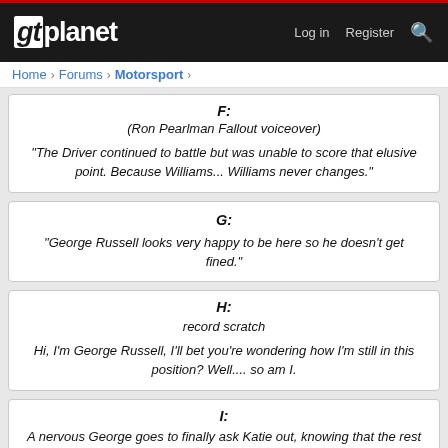gtplanet | Log in | Register
Home > Forums > Motorsport
F:
(Ron Pearlman Fallout voiceover)

"The Driver continued to battle but was unable to score that elusive point. Because Williams... Williams never changes."
G:
"George Russell looks very happy to be here so he doesn't get fined."
H:
record scratch

Hi, I'm George Russell, I'll bet you're wondering how I'm still in this position? Well.... so am I.
I:
A nervous George goes to finally ask Katie out, knowing that the rest of Year 10 will laugh at him if she says no...